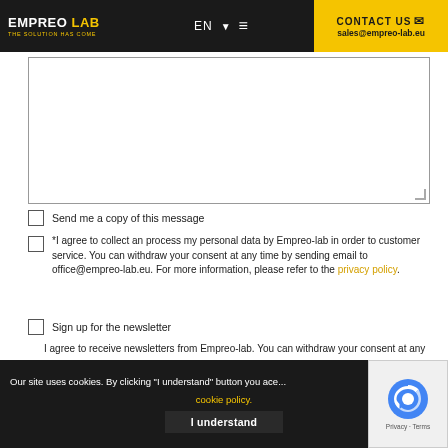EMPREO LAB - THE SOLUTION HAS COME | EN | CONTACT US | sales@empreo-lab.eu
[Figure (screenshot): Text area input box with resize handle]
Send me a copy of this message
*I agree to collect an process my personal data by Empreo-lab in order to customer service. You can withdraw your consent at any time by sending email to office@empreo-lab.eu. For more information, please refer to the privacy policy.
Sign up for the newsletter
I agree to receive newsletters from Empreo-lab. You can withdraw your consent at any time by sending email to office@empreo-lab.eu or by clicking the link at the end of newsletter message. For more information, please refer to the Privacy Policy.
Our site uses cookies. By clicking "I understand" button you accept our cookie policy. | I understand